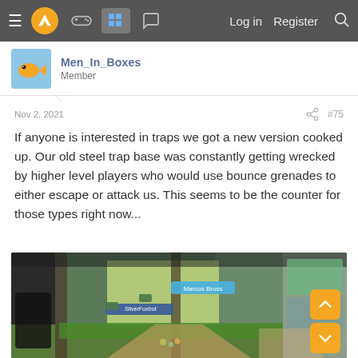Navigation bar with menu, logo, game controller icon, active grid icon, chat icon, Log in, Register, Search
Men_In_Boxes
Member
Nov 2, 2021   #75
If anyone is interested in traps we got a new version cooked up. Our old steel trap base was constantly getting wrecked by higher level players who would use bounce grenades to either escape or attack us. This seems to be the counter for those types right now...
[Figure (screenshot): In-game screenshot from a video game (appears to be Rust or similar survival game) showing a first-person perspective inside a base with grass, metal structures, and player name tags visible. Orange scroll-up and scroll-down buttons are overlaid in the bottom-right corner.]